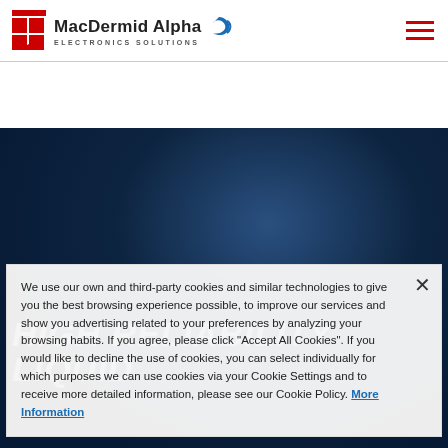[Figure (logo): MacDermid Alpha Electronics Solutions logo with red grid icon and blue swoosh icon]
HIGH RELIABILITY LIQUID
We use our own and third-party cookies and similar technologies to give you the best browsing experience possible, to improve our services and show you advertising related to your preferences by analyzing your browsing habits. If you agree, please click “Accept All Cookies”. If you would like to decline the use of cookies, you can select individually for which purposes we can use cookies via your Cookie Settings and to receive more detailed information, please see our Cookie Policy. More Information